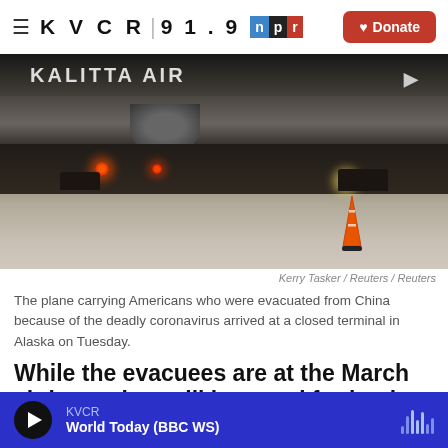≡ KVCR 91.9 NPR | Donate
[Figure (photo): Night photo of a Kalitta Air aircraft on a tarmac with vehicles and runway lights visible, an orange traffic cone in the foreground.]
Kerry Tasker / Reuters / Reuters
The plane carrying Americans who were evacuated from China because of the deadly coronavirus arrived at a closed terminal in Alaska on Tuesday.
While the evacuees are at the March air base, they will be cared for by the Department of Health and
KVCR  World Today (BBC WS)